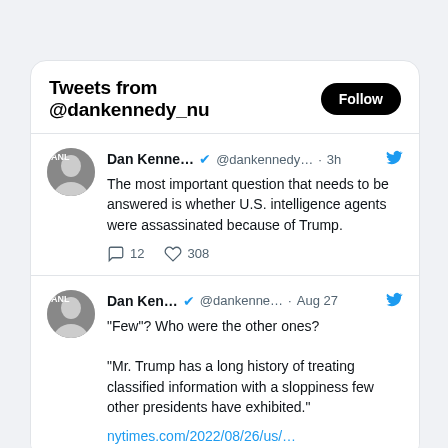Tweets from @dankennedy_nu Follow
Dan Kenne... @dankennedy... · 3h — The most important question that needs to be answered is whether U.S. intelligence agents were assassinated because of Trump. 12 replies 308 likes
Dan Ken... @dankenne... · Aug 27 — "Few"? Who were the other ones? "Mr. Trump has a long history of treating classified information with a sloppiness few other presidents have exhibited." nytimes.com/2022/08/26/us/...